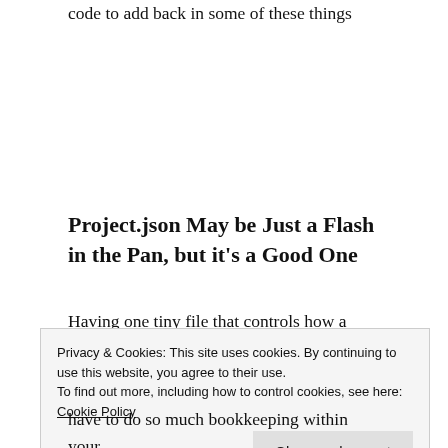code to add back in some of these things
Project.json May be Just a Flash in the Pan, but it's a Good One
Having one tiny file that controls how a library is compiled, Nuget dependencies, and how that library is
Privacy & Cookies: This site uses cookies. By continuing to use this website, you agree to their use.
To find out more, including how to control cookies, see here: Cookie Policy
Close and accept
have to do so much bookkeeping within your